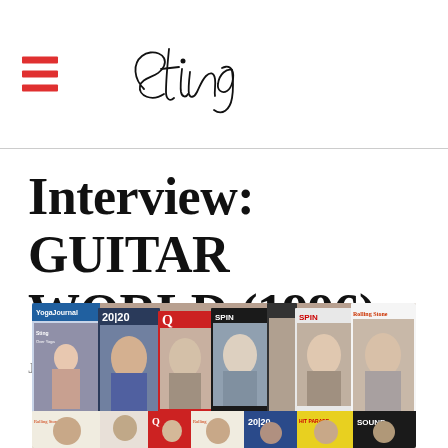Sting
Interview: GUITAR WORLD (1996)
July 01, 1996
[Figure (photo): Collage of multiple magazine covers featuring Sting, including Yoga Journal, 20/20, Q, SPIN, Rolling Stone, Police magazine, Hit Parade, and others.]